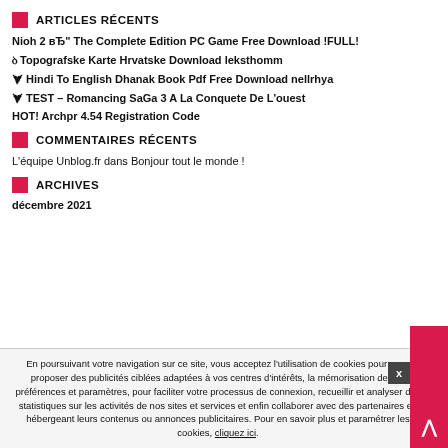ARTICLES RÉCENTS
Nioh 2 вЂ" The Complete Edition PC Game Free Download !FULL!
ꝺ Topografske Karte Hrvatske Download leksthomm
⮟ Hindi To English Dhanak Book Pdf Free Download nellrhya
⮟ TEST – Romancing SaGa 3 A La Conquete De L'ouest
HOT! Archpr 4.54 Registration Code
COMMENTAIRES RÉCENTS
L'équipe Unblog.fr dans Bonjour tout le monde !
ARCHIVES
décembre 2021
En poursuivant votre navigation sur ce site, vous acceptez l'utilisation de cookies pour vous proposer des publicités ciblées adaptées à vos centres d'intérêts, la mémorisation de vos préférences et paramètres, pour faciliter votre processus de connexion, recueillir et analyser des statistiques sur les activités de nos sites et services et enfin collaborer avec des partenaires en hébergeant leurs contenus ou annonces publicitaires. Pour en savoir plus et paramétrer les cookies, cliquez ici.